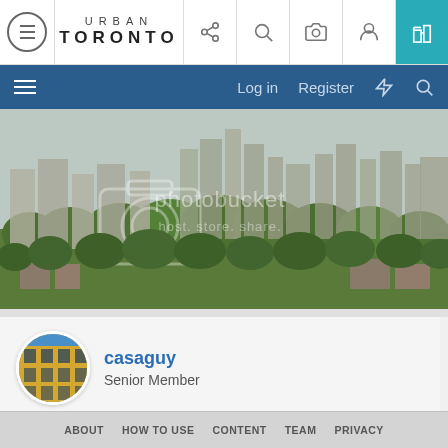URBAN TORONTO
[Figure (screenshot): Urban Toronto website screenshot with navigation bar, hero cityscape image with Photobucket watermark, user profile for casaguy (Senior Member), post date Sep 13, 2007 #275, and footer navigation]
casaguy
Senior Member
Sep 13, 2007
#275
ABOUT   HOW TO USE   CONTENT   TEAM   PRIVACY